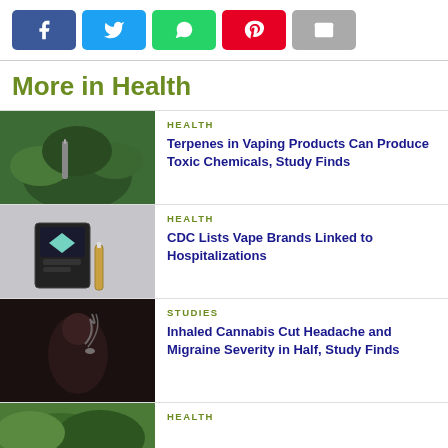[Figure (other): Social media share buttons: Facebook, Twitter, WhatsApp, Pinterest, Email]
More in Health
HEALTH
Terpenes in Vaping Products Can Produce Toxic Chemicals, Study Finds
HEALTH
CDC Lists Vape Brands Linked to Hospitalizations
STUDIES
Inhaled Cannabis Cut Headache and Migraine Severity in Half, Study Finds
HEALTH